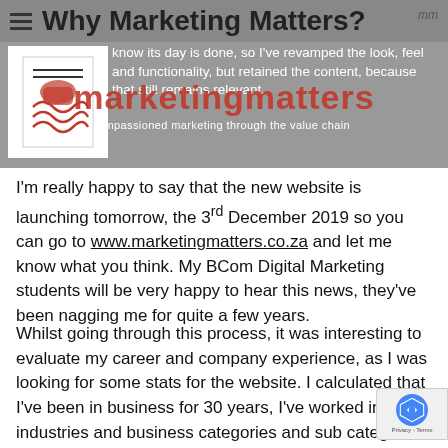Why Marketing Matters?
[Figure (screenshot): Marketing Matters website header banner with logo, site name overlay 'marketingmatters' in red, tagline 'empassioned marketing through the value chain', and partial background text about revamping the look, feel and functionality.]
I'm really happy to say that the new website is launching tomorrow, the 3rd December 2019 so you can go to www.marketingmatters.co.za and let me know what you think. My BCom Digital Marketing students will be very happy to hear this news, they've been nagging me for quite a few years.
Whilst going through this process, it was interesting to evaluate my career and company experience, as I was looking for some stats for the website. I calculated that I've been in business for 30 years, I've worked in d... industries and business categories and sub categ... and have created strategies and implementation plans